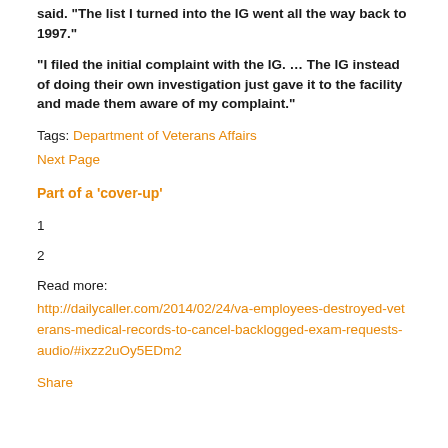said. "The list I turned into the IG went all the way back to 1997."
“I filed the initial complaint with the IG. … The IG instead of doing their own investigation just gave it to the facility and made them aware of my complaint.”
Tags: Department of Veterans Affairs
Next Page
Part of a ‘cover-up’
1
2
Read more:
http://dailycaller.com/2014/02/24/va-employees-destroyed-veterans-medical-records-to-cancel-backlogged-exam-requests-audio/#ixzz2uOy5EDm2
Share